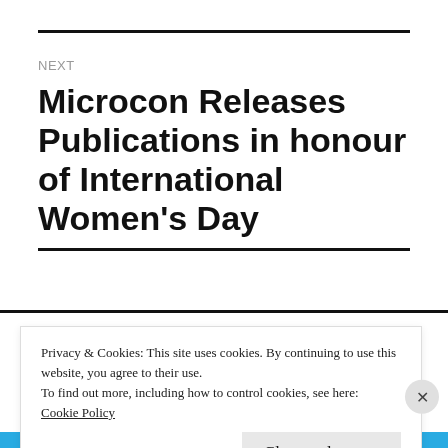NEXT
Microcon Releases Publications in honour of International Women's Day
Privacy & Cookies: This site uses cookies. By continuing to use this website, you agree to their use.
To find out more, including how to control cookies, see here: Cookie Policy
Close and accept